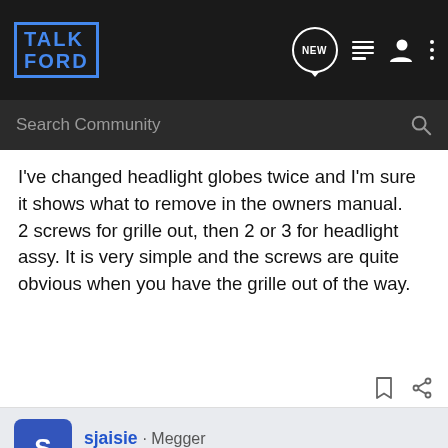Talk Ford — Search Community
I've changed headlight globes twice and I'm sure it shows what to remove in the owners manual.
2 screws for grille out, then 2 or 3 for headlight assy. It is very simple and the screws are quite obvious when you have the grille out of the way.
sjaisie · Megger
Joined Jun 18, 2004 · 88 Posts
Discussion Starter · #6 · Nov 14, 2006
Thanks, will have a look at the hand book!